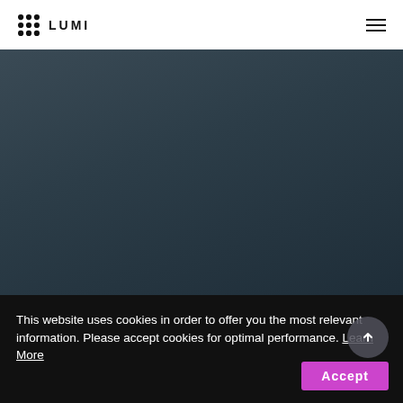[Figure (logo): LUMI logo with dot-grid icon and bold uppercase LUMI text]
[Figure (photo): Dark blue-grey hero background image area]
This website uses cookies in order to offer you the most relevant information. Please accept cookies for optimal performance. Learn More
Accept